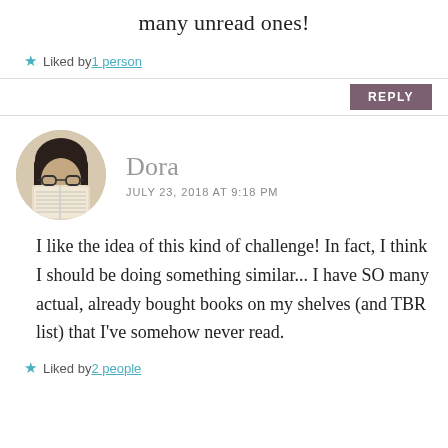many unread ones!
★ Liked by 1 person
REPLY
[Figure (photo): Circular avatar photo of Dora, a woman with dark hair and glasses, holding a book up to her face in sepia/black-and-white tone]
Dora
JULY 23, 2018 AT 9:18 PM
I like the idea of this kind of challenge! In fact, I think I should be doing something similar... I have SO many actual, already bought books on my shelves (and TBR list) that I've somehow never read.
★ Liked by 2 people